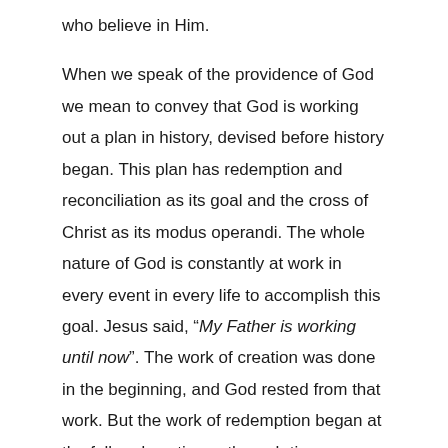who believe in Him.

When we speak of the providence of God we mean to convey that God is working out a plan in history, devised before history began. This plan has redemption and reconciliation as its goal and the cross of Christ as its modus operandi. The whole nature of God is constantly at work in every event in every life to accomplish this goal. Jesus said, "My Father is working until now". The work of creation was done in the beginning, and God rested from that work. But the work of redemption began at the fall and continues through time. Providence means that God sees every need in advance, and provides for every problem. One of the great passages on providence is where Abraham is tested to offer Isaac (Gen.22). When Isaac askes where the sacrifice is, Abraham